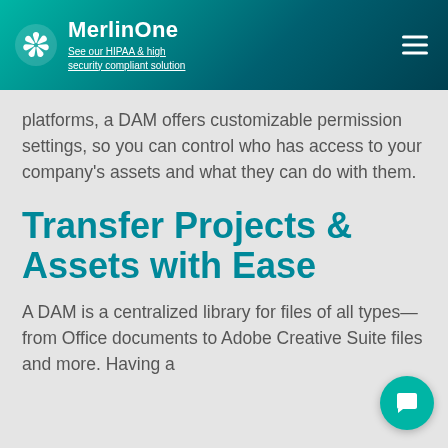MerlinOne — See our HIPAA & high security compliant solution
platforms, a DAM offers customizable permission settings, so you can control who has access to your company's assets and what they can do with them.
Transfer Projects & Assets with Ease
A DAM is a centralized library for files of all types—from Office documents to Adobe Creative Suite files and more. Having a